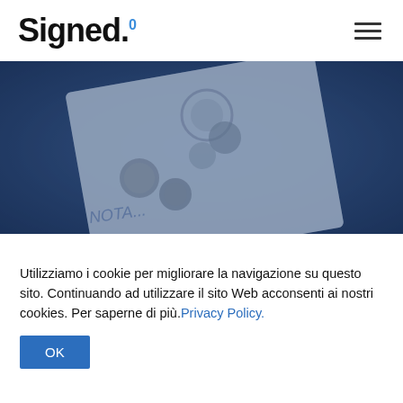[Figure (logo): Signed. logo with superscript circle and hamburger menu icon]
[Figure (photo): Blue-toned photo of a document/card with Ripple XRP cryptocurrency logos and coins on a textured surface]
Utilizziamo i cookie per migliorare la navigazione su questo sito. Continuando ad utilizzare il sito Web acconsenti ai nostri cookies. Per saperne di più.Privacy Policy.
OK